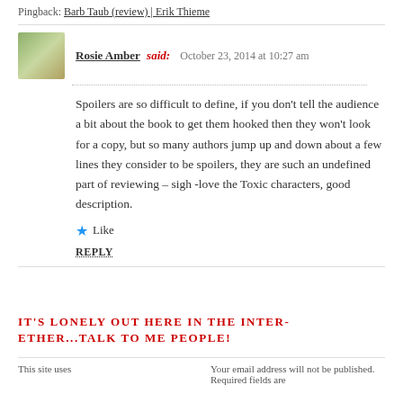Pingback: Barb Taub (review) | Erik Thieme
Rosie Amber said: October 23, 2014 at 10:27 am
Spoilers are so difficult to define, if you don't tell the audience a bit about the book to get them hooked then they won't look for a copy, but so many authors jump up and down about a few lines they consider to be spoilers, they are such an undefined part of reviewing – sigh -love the Toxic characters, good description.
Like
REPLY
IT'S LONELY OUT HERE IN THE INTER-ETHER...TALK TO ME PEOPLE!
This site uses
Your email address will not be published. Required fields are